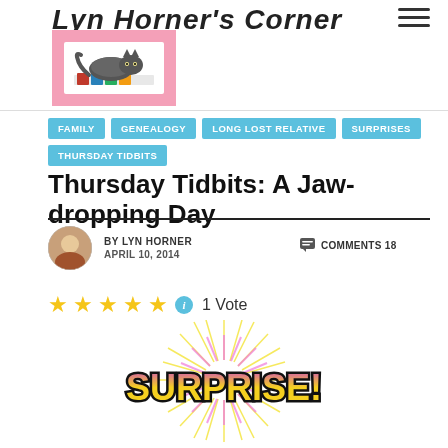Lyn Horner's Corner
[Figure (photo): Blog logo with cat lying on books, pink background]
FAMILY
GENEALOGY
LONG LOST RELATIVE
SURPRISES
THURSDAY TIDBITS
Thursday Tidbits: A Jaw-dropping Day
BY LYN HORNER  APRIL 10, 2014  COMMENTS 18
1 Vote
[Figure (illustration): SURPRISE! text with colorful starburst rays in yellow/pink]